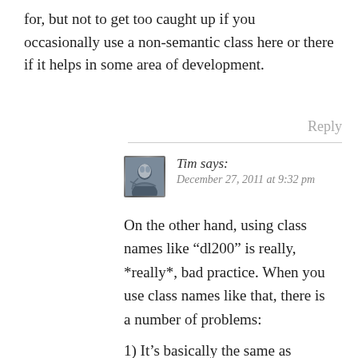for, but not to get too caught up if you occasionally use a non-semantic class here or there if it helps in some area of development.
Reply
Tim says: December 27, 2011 at 9:32 pm
On the other hand, using class names like “dl200” is really, *really*, bad practice. When you use class names like that, there is a number of problems:
1) It’s basically the same as having a class called “red”. When ever you